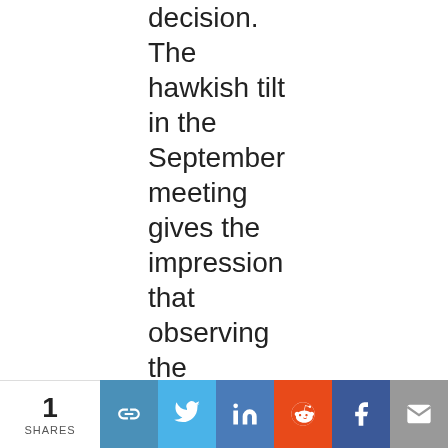decision. The hawkish tilt in the September meeting gives the impression that observing the September jobs report was just a formality.
1 SHARES | share buttons: link, twitter, linkedin, reddit, facebook, email